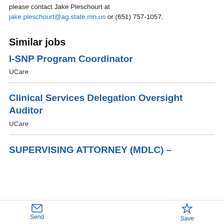please contact Jake Pleschourt at jake.pleschourt@ag.state.mn.us or (651) 757-1057.
Similar jobs
I-SNP Program Coordinator
UCare
Clinical Services Delegation Oversight Auditor
UCare
SUPERVISING ATTORNEY (MDLC) –
Send  Save